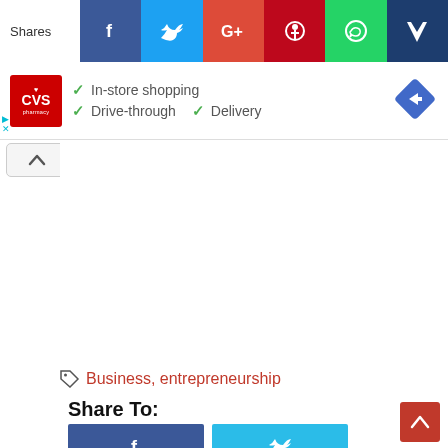[Figure (infographic): Social share bar at top with Shares label and icons for Facebook, Twitter, Google+, Pinterest, WhatsApp, and crown/other]
[Figure (infographic): CVS pharmacy advertisement banner with logo, checkmarks for In-store shopping, Drive-through, Delivery, and navigation diamond icon]
Business, entrepreneurship
Share To:
[Figure (infographic): Share buttons for Facebook (blue), Twitter (light blue), Google+ (red), LinkedIn (teal)]